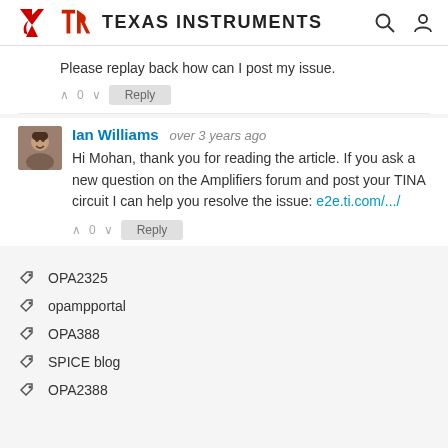Texas Instruments
Please replay back how can I post my issue.
∧ 0 ∨  Reply
Ian Williams  over 3 years ago
Hi Mohan, thank you for reading the article. If you ask a new question on the Amplifiers forum and post your TINA circuit I can help you resolve the issue: e2e.ti.com/.../
∧ 0 ∨  Reply
OPA2325
opampportal
OPA388
SPICE blog
OPA2388